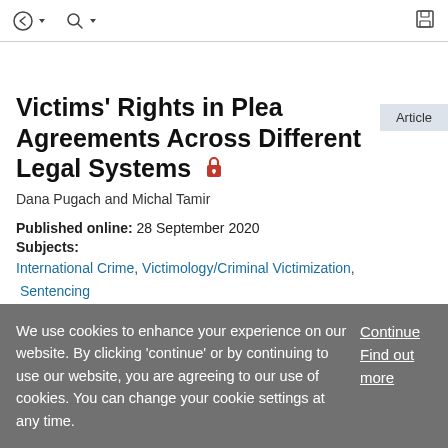Toolbar with navigation icons and save icon
Victims’ Rights in Plea Agreements Across Different Legal Systems 🔒
Dana Pugach and Michal Tamir
Published online: 28 September 2020
Subjects:
International Crime, Victimology/Criminal Victimization, Sentencing
We use cookies to enhance your experience on our website. By clicking ‘continue’ or by continuing to use our website, you are agreeing to our use of cookies. You can change your cookie settings at any time.